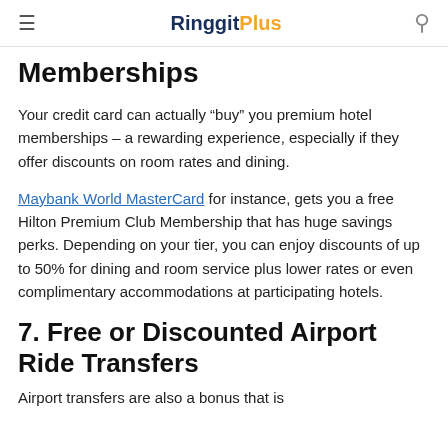RinggitPlus
Memberships
Your credit card can actually “buy” you premium hotel memberships – a rewarding experience, especially if they offer discounts on room rates and dining.
Maybank World MasterCard for instance, gets you a free Hilton Premium Club Membership that has huge savings perks. Depending on your tier, you can enjoy discounts of up to 50% for dining and room service plus lower rates or even complimentary accommodations at participating hotels.
7. Free or Discounted Airport Ride Transfers
Airport transfers are also a bonus that is...